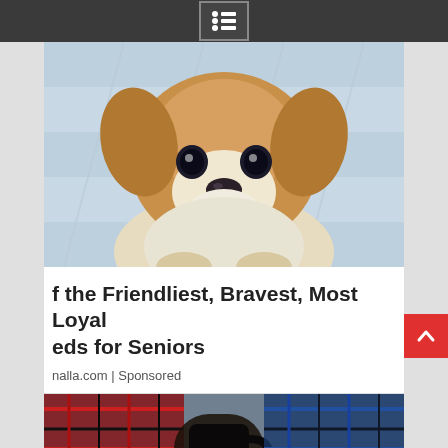Navigation menu header bar with list/menu icon
[Figure (photo): Close-up photo of a young golden-brown puppy with large brown eyes, white chin and chest, sitting and looking directly at the camera against a light wooden/striped background.]
f the Friendliest, Bravest, Most Loyal eds for Seniors
nalla.com | Sponsored
[Figure (photo): Partial photo showing people in plaid/checkered clothing, appears to be an outdoor or casual setting, partially cropped at bottom of page.]